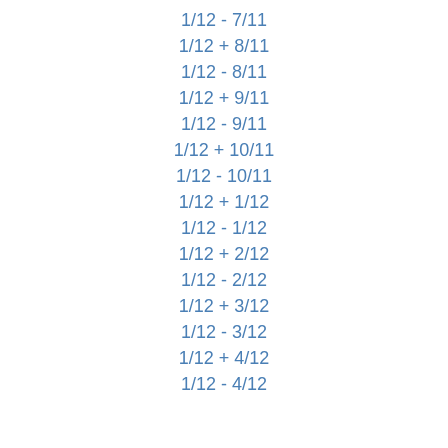1/12 - 7/11
1/12 + 8/11
1/12 - 8/11
1/12 + 9/11
1/12 - 9/11
1/12 + 10/11
1/12 - 10/11
1/12 + 1/12
1/12 - 1/12
1/12 + 2/12
1/12 - 2/12
1/12 + 3/12
1/12 - 3/12
1/12 + 4/12
1/12 - 4/12